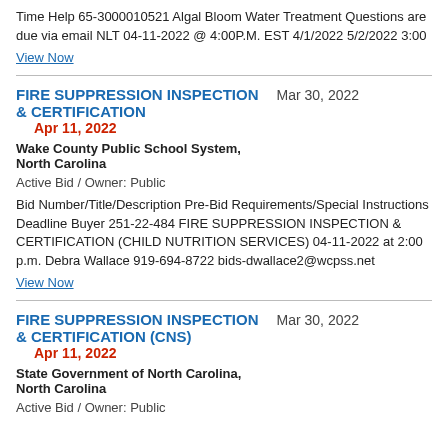Time Help 65-3000010521 Algal Bloom Water Treatment Questions are due via email NLT 04-11-2022 @ 4:00P.M. EST 4/1/2022 5/2/2022 3:00
View Now
FIRE SUPPRESSION INSPECTION & CERTIFICATION   Mar 30, 2022   Apr 11, 2022
Wake County Public School System, North Carolina
Active Bid / Owner: Public
Bid Number/Title/Description Pre-Bid Requirements/Special Instructions Deadline Buyer 251-22-484 FIRE SUPPRESSION INSPECTION & CERTIFICATION (CHILD NUTRITION SERVICES) 04-11-2022 at 2:00 p.m. Debra Wallace 919-694-8722 bids-dwallace2@wcpss.net
View Now
FIRE SUPPRESSION INSPECTION & CERTIFICATION (CNS)   Mar 30, 2022   Apr 11, 2022
State Government of North Carolina, North Carolina
Active Bid / Owner: Public